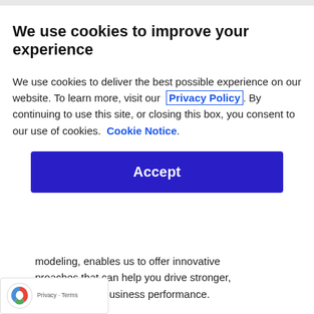We use cookies to improve your experience
We use cookies to deliver the best possible experience on our website. To learn more, visit our  Privacy Policy. By continuing to use this site, or closing this box, you consent to our use of cookies.  Cookie Notice.
Accept
modeling, enables us to offer innovative approaches that can help you drive stronger, more sustainable business performance.